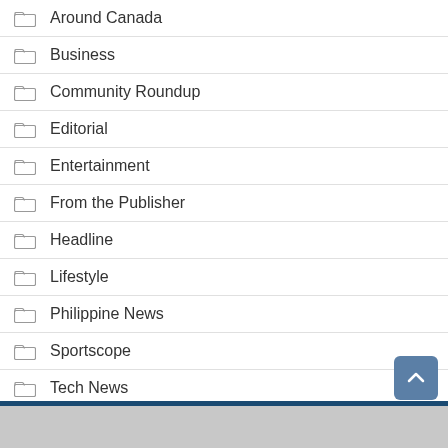Around Canada
Business
Community Roundup
Editorial
Entertainment
From the Publisher
Headline
Lifestyle
Philippine News
Sportscope
Tech News
US & World